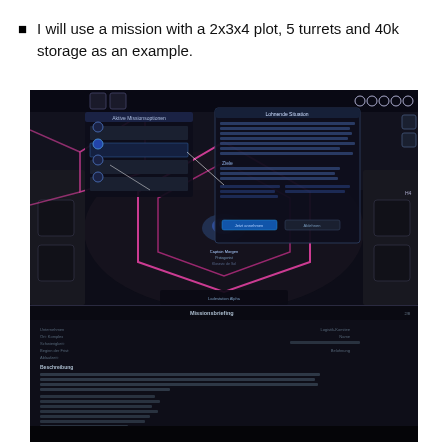I will use a mission with a 2x3x4 plot, 5 turrets and 40k storage as an example.
[Figure (screenshot): Two stacked game screenshots: top shows a space game UI with hexagonal pink outlines on a dark sci-fi background with mission dialog and UI elements; bottom shows a mission briefing panel with German text and game stats.]